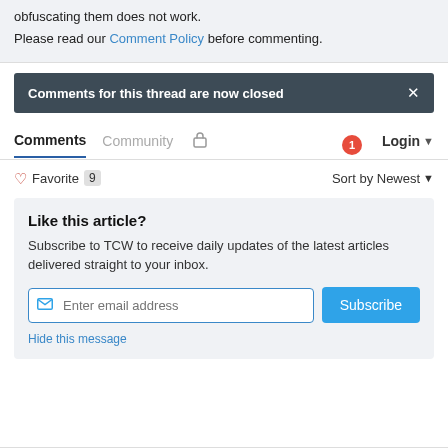obfuscating them does not work.
Please read our Comment Policy before commenting.
Comments for this thread are now closed
Comments   Community   🔒   Login
♡ Favorite 9   Sort by Newest
Like this article?
Subscribe to TCW to receive daily updates of the latest articles delivered straight to your inbox.
Enter email address   Subscribe
Hide this message